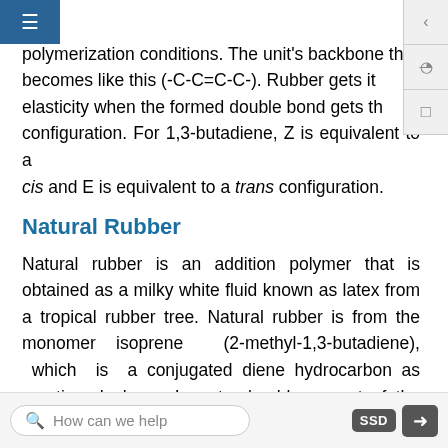ured double bond, depending on the polymerization conditions. The unit's backbone thus becomes like this (-C-C=C-C-). Rubber gets its elasticity when the formed double bond gets the Z configuration. For 1,3-butadiene, Z is equivalent to a cis and E is equivalent to a trans configuration.
Natural Rubber
Natural rubber is an addition polymer that is obtained as a milky white fluid known as latex from a tropical rubber tree. Natural rubber is from the monomer isoprene (2-methyl-1,3-butadiene), which is a conjugated diene hydrocarbon as mentioned above. In natural rubber, most of the double fonds formed in the